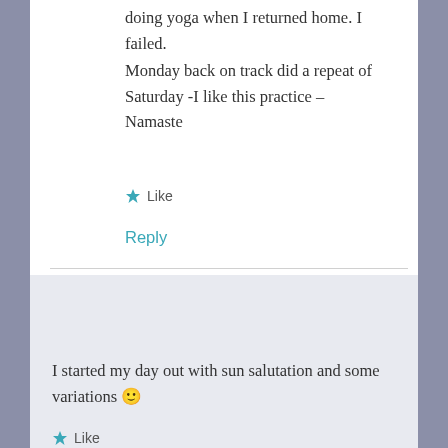doing yoga when I returned home. I failed.
Monday back on track did a repeat of Saturday -I like this practice – Namaste
Like
Reply
corrin
APRIL 2, 2010 AT 5:26 PM
I started my day out with sun salutation and some variations 🙂